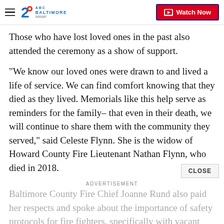WMAR ABC 2 Baltimore — Watch Now
Those who have lost loved ones in the past also attended the ceremony as a show of support.
"We know our loved ones were drawn to and lived a life of service. We can find comfort knowing that they died as they lived. Memorials like this help serve as reminders for the family– that even in their death, we will continue to share them with the community they served," said Celeste Flynn. She is the widow of Howard County Fire Lieutenant Nathan Flynn, who died in 2018.
Baltimore County Fire Chief Joanne Rund also paid her respects and spoke about the importance of safety protocols for fire fighters, specifically with vacant